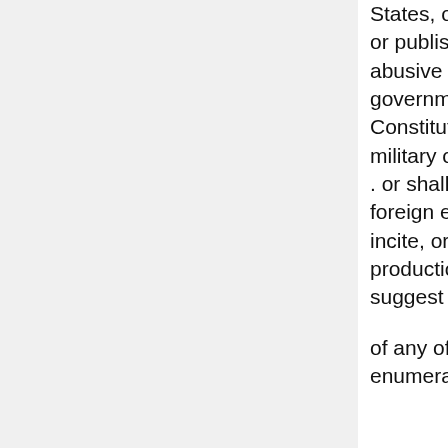service of the United States, or . . . shall willfully utter, print, write, or publish any disloyal, profane, scurrilous, or abusive language about the form of government of the United States, or the Constitution of the United States, or the military or naval forces of the United States . . . or shall willfully display the flag of any foreign enemy, or shall willfully . . . urge, incite, or advocate any curtailment of production . . . or advocate, teach, defend, or suggest the doing
of any of the acts or things in this section enumerated